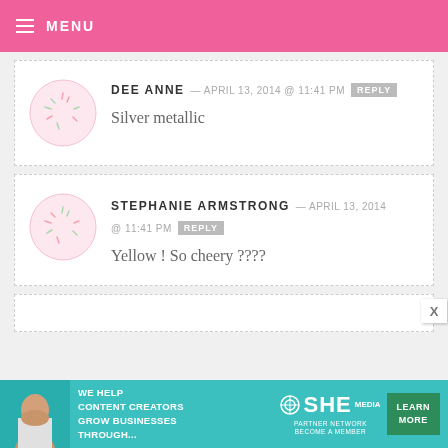MENU
DEE ANNE — APRIL 13, 2014 @ 11:41 PM REPLY
Silver metallic
STEPHANIE ARMSTRONG — APRIL 13, 2014 @ 11:41 PM REPLY
Yellow ! So cheery ????
[Figure (infographic): SHE Media partner network advertisement banner with woman photo, text: WE HELP CONTENT CREATORS GROW BUSINESSES THROUGH... and LEARN MORE button]